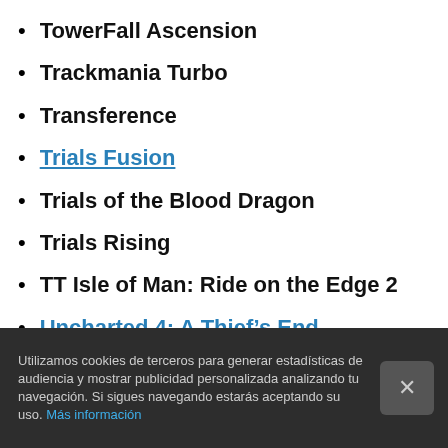TowerFall Ascension
Trackmania Turbo
Transference
Trials Fusion
Trials of the Blood Dragon
Trials Rising
TT Isle of Man: Ride on the Edge 2
Uncharted 4: A Thief’s End
Uncharted: The Lost Legacy
Uncharted: The Nathan Drake Collection
Utilizamos cookies de terceros para generar estadísticas de audiencia y mostrar publicidad personalizada analizando tu navegación. Si sigues navegando estarás aceptando su uso. Más información